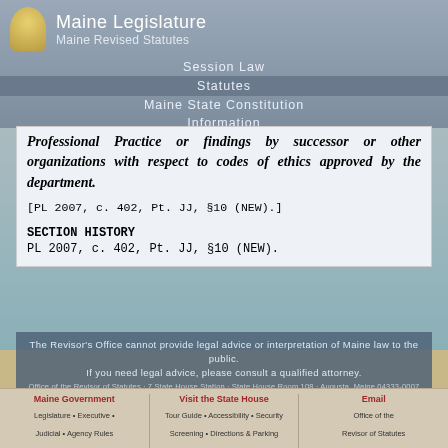Maine Legislature
Maine Revised Statutes
Session Law
Statutes
Maine State Constitution
Information
Professional Practice or findings by successor or other organizations with respect to codes of ethics approved by the department.
[PL 2007, c. 402, Pt. JJ, §10 (NEW).]
SECTION HISTORY
PL 2007, c. 402, Pt. JJ, §10 (NEW).
The Revisor's Office cannot provide legal advice or interpretation of Maine law to the public.
If you need legal advice, please consult a qualified attorney.
Office of the Revisor of Statutes · 7 State House Station · State House Room 108 · Augusta, Maine 04333-0007
Data for this page extracted on 11/19/2021 08:05:19
Maine Government
Legislature • Executive •
Judicial • Agency Rules

Visit the State House
Tour Guide • Accessibility • Security
Screening • Directions & Parking

Email
Office of the
Revisor of Statutes